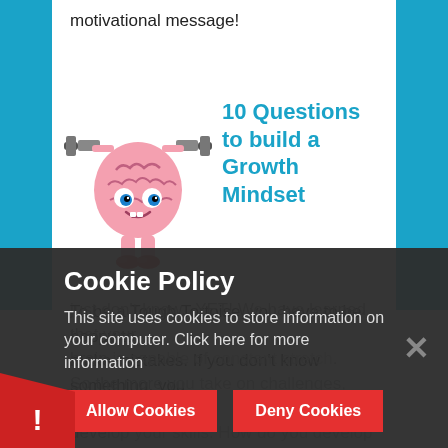motivational message!
[Figure (illustration): Cartoon brain character lifting weights/dumbbells, smiling, with arms and legs.]
10 Questions to build a Growth Mindset
To be a Tough Tortoise, you have to be happy to make mistakes. If you don't know something, you just don't know...YET! We have learned that your brain is capable of constant stretch. So the more you take on challenges, you can also develop your skills. How do you develop this? Furt
Cookie Policy
This site uses cookies to store information on your computer. Click here for more information